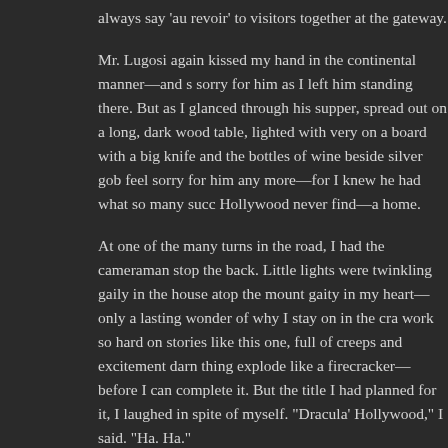always say 'au revoir' to visitors together at the gateway.
Mr. Lugosi again kissed my hand in the continental manner—and sorry for him as I left him standing there. But as I glanced through his supper, spread out on a long, dark wood table, lighted with very on a board with a big knife and the bottles of wine beside silver gob feel sorry for him any more—for I knew he had what so many succ Hollywood never find—a home.
At one of the many turns in the road, I had the cameraman stop the back. Little lights were twinkling gaily in the house atop the mount gaity in my heart—only a lasting wonder of why I stay on in the cra work so hard on stories like this one, full of creeps and excitement darn thing explode like a firecracker—before I can complete it. But the title I had planned for it, I laughed in spite of myself. "Dracula' Hollywood," I said. "Ha. Ha."
Share this:
Twitter
Facebook
Reddit
LinkedIn
Email
Pinterest
Pocket
Telegram
WhatsApp
Skype
Loading...